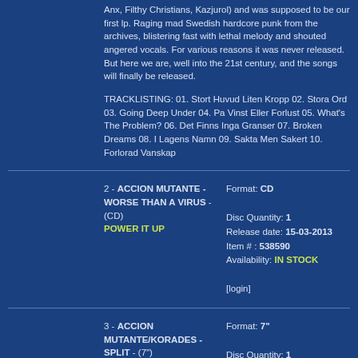Anx, Filthy Christians, Kazjurol) and was supposed to be our first lp. Raging mad Swedish hardcore punk from the archives, blistering fast with lethal melody and shouted angered vocals. For various reasons it was never released. But here we are, well into the 21st century, and the songs will finally be released.
TRACKLISTING: 01. Stort Huvud Liten Kropp 02. Stora Ord 03. Going Deep Under 04. Pa Vinst Eller Forlust 05. What's The Problem? 06. Det Finns Inga Granser 07. Broken Dreams 08. I Lagens Namn 09. Sakta Men Sakert 10. Forlorad Vanskap
2 - ACCION MUTANTE - WORSE THAN A VIRUS - (CD) POWER IT UP
Format: CD
Disc Quantity: 1
Release date: 15-03-2013
Item # : 538590
Availability: IN STOCK
[login]
3 - ACCION MUTANTE/KORADES - SPLIT - (7") POWER IT UP
Format: 7"
Disc Quantity: 1
Release date: 23-01-2009
Item # : 538589
Availability: IN STOCK
[login]